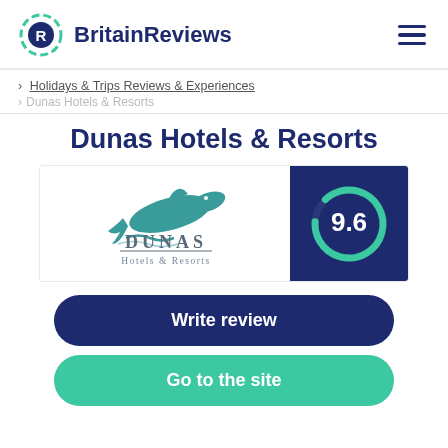BritainReviews
> Holidays & Trips Reviews & Experiences
> Dunas Hotels & Resorts
Dunas Hotels & Resorts
[Figure (logo): Dunas Hotels & Resorts logo with a dolphin graphic, alongside a dark blue score box showing 9.6 in a circular teal gauge]
Write review
Go to the site